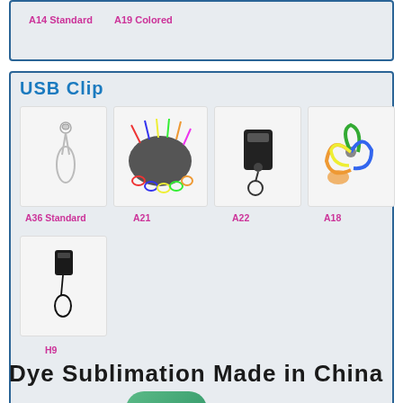A14 Standard    A19 Colored
USB Clip
[Figure (photo): A36 Standard - single loop phone strap cord, clear/silver]
[Figure (photo): A21 - bundle of mixed colored short cords with metal connectors]
[Figure (photo): A22 - black USB key-shaped connector with loop cord]
[Figure (photo): A18 - fan of colored loop straps, green, orange, blue]
A36 Standard
A21
A22
A18
[Figure (photo): H9 - black USB clip with thin black cord loop]
H9
Dye Sublimation Made in China